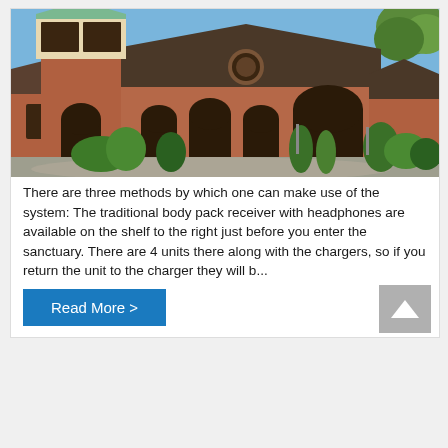[Figure (photo): Exterior photo of a brick church building with a green copper-roofed tower on the left, arched entryways, circular window above entrance, dark shingled roof, blue sky, and green trees and shrubs in the foreground.]
There are three methods by which one can make use of the system: The traditional body pack receiver with headphones are available on the shelf to the right just before you enter the sanctuary. There are 4 units there along with the chargers, so if you return the unit to the charger they will b...
Read More >